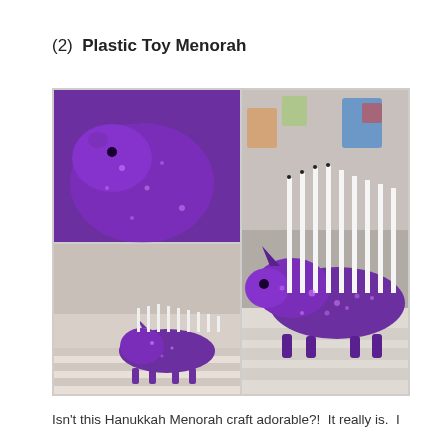(2)  Plastic Toy Menorah
[Figure (photo): Three photos of a glitter-covered purple rhinoceros plastic toy repurposed as a Hanukkah menorah, with white candles inserted into its back. Top-left: close-up of the rhino head and torso. Bottom-left: full-body side view of the small rhinoceros menorah on a striped surface. Right: larger full-body view of the rhino menorah with candles, set against a colorful background.]
Isn't this Hanukkah Menorah craft adorable?!  It really is.  I